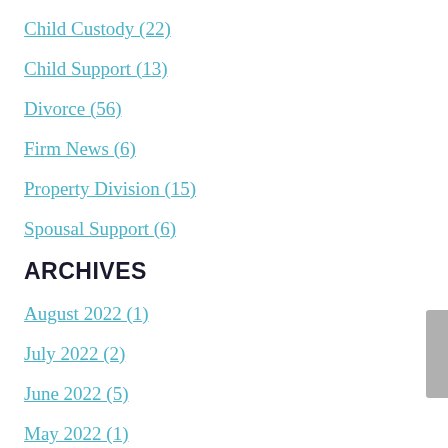Child Custody (22)
Child Support (13)
Divorce (56)
Firm News (6)
Property Division (15)
Spousal Support (6)
ARCHIVES
August 2022 (1)
July 2022 (2)
June 2022 (5)
May 2022 (1)
April 2022 (2)
March 2022 (2)